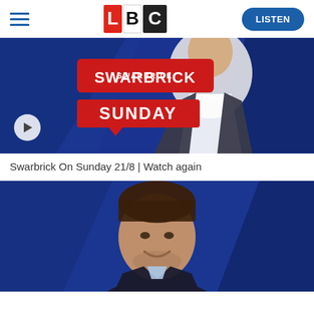LBC | LISTEN
[Figure (screenshot): LBC 'Swarbrick On Sunday' TV show promo image showing a man in a dark suit against a blue background with red and white speech bubble graphic reading 'SWARBRICK ON SUNDAY'. A play button is visible bottom left.]
Swarbrick On Sunday 21/8 | Watch again
[Figure (photo): Photo of a young man with dark hair and beard smiling, wearing a dark suit, against a blue graphic background — LBC show promotional image.]